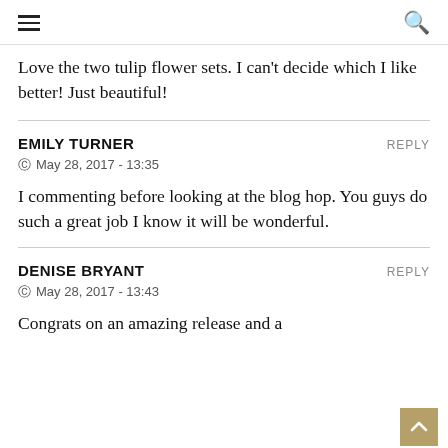≡  🔍
Love the two tulip flower sets. I can't decide which I like better! Just beautiful!
EMILY TURNER   REPLY
May 28, 2017 - 13:35
I commenting before looking at the blog hop. You guys do such a great job I know it will be wonderful.
DENISE BRYANT   REPLY
May 28, 2017 - 13:43
Congrats on an amazing release and a